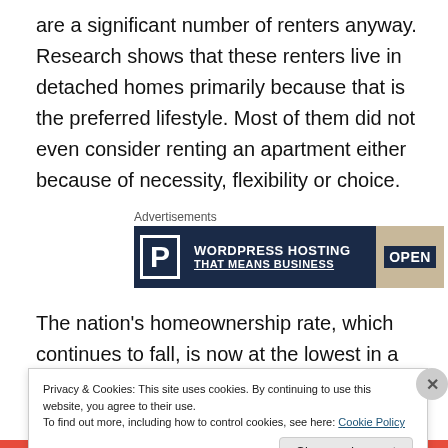are a significant number of renters anyway. Research shows that these renters live in detached homes primarily because that is the preferred lifestyle. Most of them did not even consider renting an apartment either because of necessity, flexibility or choice.
[Figure (other): Advertisement banner for WordPress Hosting with text 'WORDPRESS HOSTING THAT MEANS BUSINESS' and an OPEN sign image on dark navy background]
The nation's homeownership rate, which continues to fall, is now at the lowest in a half a century. While home sales
Privacy & Cookies: This site uses cookies. By continuing to use this website, you agree to their use.
To find out more, including how to control cookies, see here: Cookie Policy